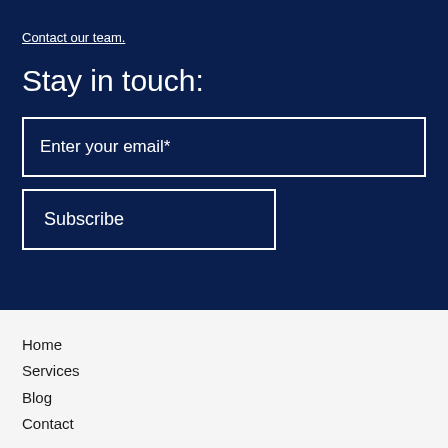Contact our team.
Stay in touch:
Enter your email*
Subscribe
Home
Services
Blog
Contact